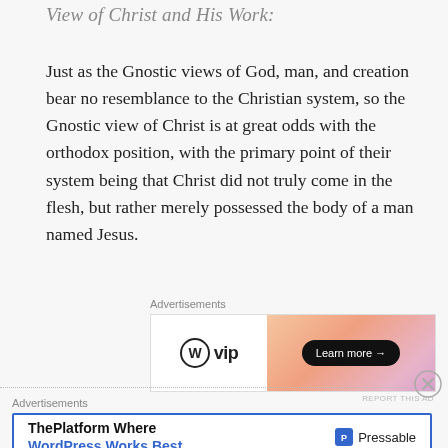View of Christ and His Work:
Just as the Gnostic views of God, man, and creation bear no resemblance to the Christian system, so the Gnostic view of Christ is at great odds with the orthodox position, with the primary point of their system being that Christ did not truly come in the flesh, but rather merely possessed the body of a man named Jesus.
[Figure (screenshot): WordPress VIP advertisement banner with orange/pink gradient and 'Learn more' button]
[Figure (screenshot): Pressable advertisement banner: 'ThePlatform Where WordPress Works Best' with Pressable logo]